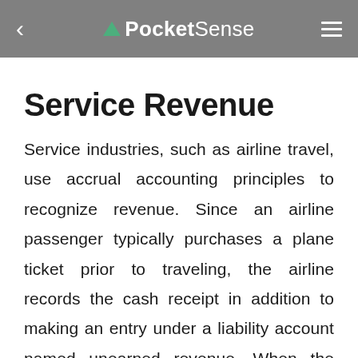PocketSense
Service Revenue
Service industries, such as airline travel, use accrual accounting principles to recognize revenue. Since an airline passenger typically purchases a plane ticket prior to traveling, the airline records the cash receipt in addition to making an entry under a liability account named unearned revenue. When the passenger receives the service he paid for, the airline then reduces the unearned